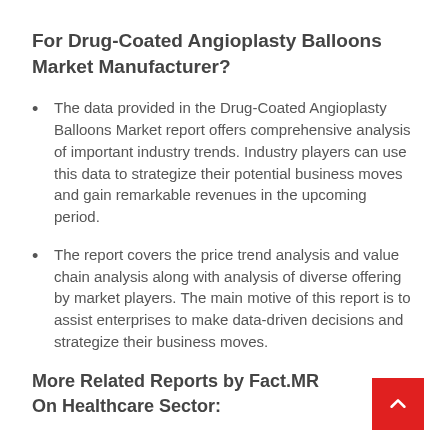For Drug-Coated Angioplasty Balloons Market Manufacturer?
The data provided in the Drug-Coated Angioplasty Balloons Market report offers comprehensive analysis of important industry trends. Industry players can use this data to strategize their potential business moves and gain remarkable revenues in the upcoming period.
The report covers the price trend analysis and value chain analysis along with analysis of diverse offering by market players. The main motive of this report is to assist enterprises to make data-driven decisions and strategize their business moves.
More Related Reports by Fact.MR On Healthcare Sector: